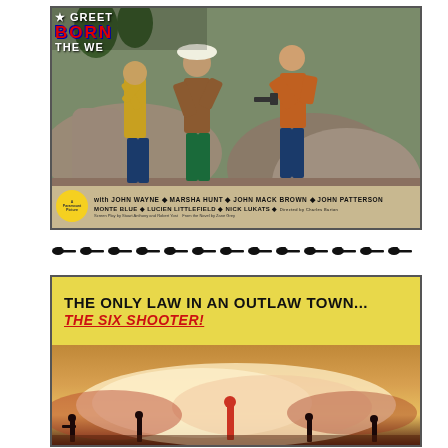[Figure (photo): Lobby card for western film showing three cowboys in a confrontation scene among rocks and trees. Title at top reads 'BORN TO THE WEST' with credits for John Wayne, Marsha Hunt, John Mack Brown, John Patterson, Monte Blue, Lucien Littlefield, Nick Lukats. Yellow circle badge at bottom left. Credits strip at bottom on tan background.]
[Figure (illustration): Row of black revolver/pistol icons used as a decorative divider between the two lobby cards.]
[Figure (photo): Lobby card showing dramatic tagline text 'THE ONLY LAW IN AN OUTLAW TOWN... THE SIX SHOOTER!' on yellow background at top, with action battle scene below showing gunfight with smoke and dust.]